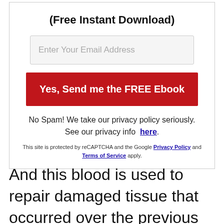(Free Instant Download)
[Figure (other): Email input field with placeholder text 'Enter Your Email Address']
[Figure (other): Red button with text 'Yes, Send me the FREE Ebook']
No Spam! We take our privacy policy seriously. See our privacy info here.
This site is protected by reCAPTCHA and the Google Privacy Policy and Terms of Service apply.
And this blood is used to repair damaged tissue that occurred over the previous 24 hours.